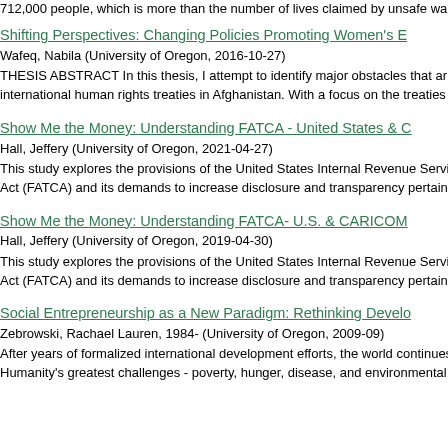712,000 people, which is more than the number of lives claimed by unsafe wa
Shifting Perspectives: Changing Policies Promoting Women's E
Wafeq, Nabila (University of Oregon, 2016-10-27)
THESIS ABSTRACT In this thesis, I attempt to identify major obstacles that ar international human rights treaties in Afghanistan. With a focus on the treaties
Show Me the Money: Understanding FATCA - United States & C
Hall, Jeffery (University of Oregon, 2021-04-27)
This study explores the provisions of the United States Internal Revenue Servi Act (FATCA) and its demands to increase disclosure and transparency pertain
Show Me the Money: Understanding FATCA- U.S. & CARICOM
Hall, Jeffery (University of Oregon, 2019-04-30)
This study explores the provisions of the United States Internal Revenue Servi Act (FATCA) and its demands to increase disclosure and transparency pertain
Social Entrepreneurship as a New Paradigm: Rethinking Develo
Zebrowski, Rachael Lauren, 1984- (University of Oregon, 2009-09)
After years of formalized international development efforts, the world continues Humanity's greatest challenges - poverty, hunger, disease, and environmental